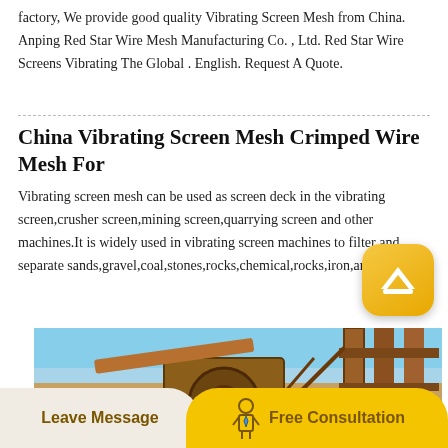factory, We provide good quality Vibrating Screen Mesh from China. Anping Red Star Wire Mesh Manufacturing Co. , Ltd. Red Star Wire Screens Vibrating The Global . English. Request A Quote.
China Vibrating Screen Mesh Crimped Wire Mesh For
Vibrating screen mesh can be used as screen deck in the vibrating screen,crusher screen,mining screen,quarrying screen and other machines.It is widely used in vibrating screen machines to filter and separate sands,gravel,coal,stones,rocks,chemical,rocks,iron,and o
[Figure (photo): Industrial mining/quarrying facility showing large machinery including a large gear wheel on the left, conveyor belt system, and metal structural framework, with blue sky background]
Leave Message
Free Consultation